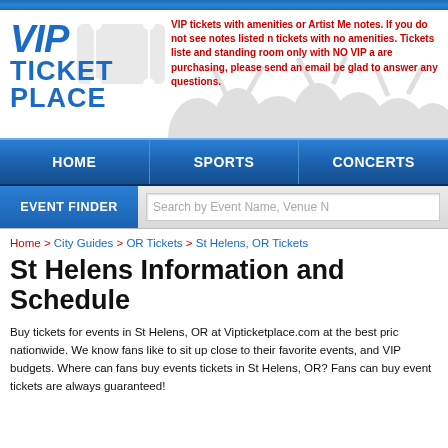[Figure (logo): VIP Ticket Place logo with blue text and ticket icon]
VIP tickets with amenities or Artist Me notes. If you do not see notes listed n tickets with no amenities. Tickets liste and standing room only with NO VIP a are purchasing, please send an email be glad to answer any questions.
HOME   SPORTS   CONCERTS
EVENT FINDER   Search by Event Name, Venue N
Home > City Guides > OR Tickets > St Helens, OR Tickets
St Helens Information and Schedule
Buy tickets for events in St Helens, OR at Vipticketplace.com at the best pric nationwide. We know fans like to sit up close to their favorite events, and VIP budgets. Where can fans buy events tickets in St Helens, OR? Fans can buy event tickets are always guaranteed!